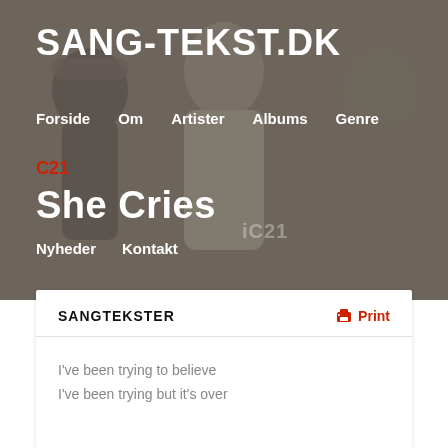SANG-TEKST.DK
Forside   Om   Artister   Albums   Genre
C21
She Cries
Nyheder   Kontakt
SANGTEKSTER
Print
I've been trying to believe
I've been trying but it's over